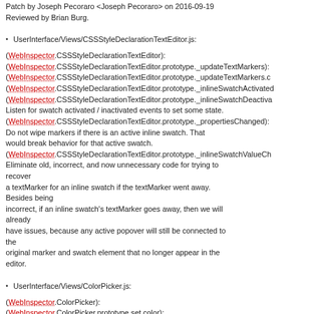Patch by Joseph Pecoraro <Joseph Pecoraro> on 2016-09-19
Reviewed by Brian Burg.
UserInterface/Views/CSSStyleDeclarationTextEditor.js:
(WebInspector.CSSStyleDeclarationTextEditor):
(WebInspector.CSSStyleDeclarationTextEditor.prototype._updateTextMarkers):
(WebInspector.CSSStyleDeclarationTextEditor.prototype._updateTextMarkers.c
(WebInspector.CSSStyleDeclarationTextEditor.prototype._inlineSwatchActivated
(WebInspector.CSSStyleDeclarationTextEditor.prototype._inlineSwatchDeactiva
Listen for swatch activated / inactivated events to set some state.
(WebInspector.CSSStyleDeclarationTextEditor.prototype._propertiesChanged):
Do not wipe markers if there is an active inline swatch. That would break behavior for that active swatch.
(WebInspector.CSSStyleDeclarationTextEditor.prototype._inlineSwatchValueCh
Eliminate old, incorrect, and now unnecessary code for trying to recover a textMarker for an inline swatch if the textMarker went away. Besides being incorrect, if an inline swatch's textMarker goes away, then we will already have issues, because any active popover will still be connected to the original marker and swatch element that no longer appear in the editor.
UserInterface/Views/ColorPicker.js:
(WebInspector.ColorPicker):
(WebInspector.ColorPicker.prototype.set color):
UserInterface/Views/InlineSwatch.js:
(WebInspector.InlineSwatch.prototype.didDismissPopover):